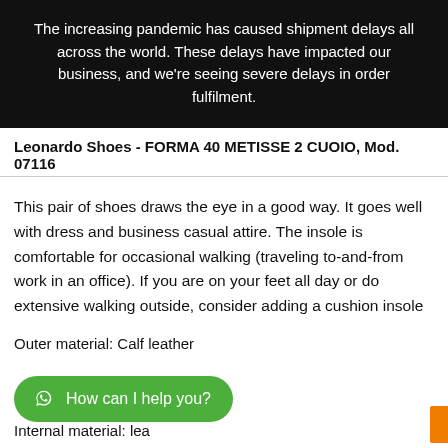The increasing pandemic has caused shipment delays all across the world. These delays have impacted our business, and we're seeing severe delays in order fulfilment.
Leonardo Shoes - FORMA 40 METISSE 2 CUOIO, Mod. 07116
This pair of shoes draws the eye in a good way. It goes well with dress and business casual attire. The insole is comfortable for occasional walking (traveling to-and-from work in an office). If you are on your feet all day or do extensive walking outside, consider adding a cushion insole
Outer material: Calf leather
Internal material: lea